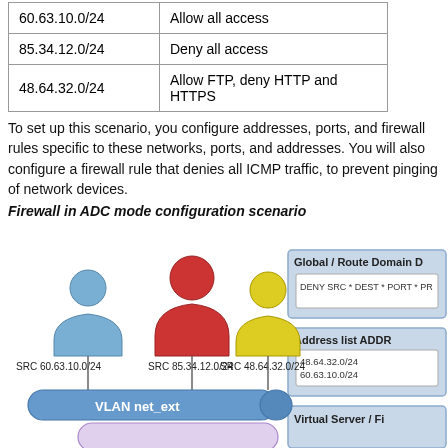| Network | Rule |
| --- | --- |
| 60.63.10.0/24 | Allow all access |
| 85.34.12.0/24 | Deny all access |
| 48.64.32.0/24 | Allow FTP, deny HTTP and HTTPS |
To set up this scenario, you configure addresses, ports, and firewall rules specific to these networks, ports, and addresses. You will also configure a firewall rule that denies all ICMP traffic, to prevent pinging of network devices.
Firewall in ADC mode configuration scenario
[Figure (network-graph): Network diagram showing three user icons (blue SRC 60.63.10.0/24, red SRC 85.34.12.0/24, yellow SRC 48.64.32.0/24) connected to a VLAN net_ext bar, with a firewall/router below. On the right side: Global/Route Domain box with DENY SRC * DEST * PORT * PR rule, Address list ADDR box with 48.64.32.0/24 and 60.63.10.0/24, and a Virtual Server/Firewall box partially visible.]